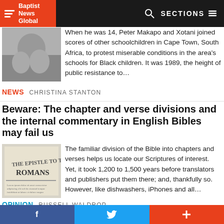Baptist News Global | SECTIONS
voice of racial reconciliation
When he was 14, Peter Makapo and Xotani joined scores of other schoolchildren in Cape Town, South Africa, to protest miserable conditions in the area's schools for Black children. It was 1989, the height of public resistance to…
NEWS CHRISTINA STANTON
Beware: The chapter and verse divisions and the internal commentary in English Bibles may fail us
The familiar division of the Bible into chapters and verses helps us locate our Scriptures of interest. Yet, it took 1,200 to 1,500 years before translators and publishers put them there; and, thankfully so. However, like dishwashers, iPhones and all…
OPINION RUSSELL WALDROP
'So you've been deconstructing, huh? What do you believe now?'
f  (twitter bird)  +